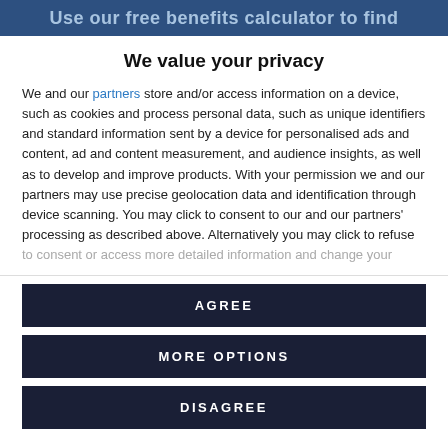Use our free benefits calculator to find
We value your privacy
We and our partners store and/or access information on a device, such as cookies and process personal data, such as unique identifiers and standard information sent by a device for personalised ads and content, ad and content measurement, and audience insights, as well as to develop and improve products. With your permission we and our partners may use precise geolocation data and identification through device scanning. You may click to consent to our and our partners' processing as described above. Alternatively you may click to refuse to consent or access more detailed information and change your
AGREE
MORE OPTIONS
DISAGREE